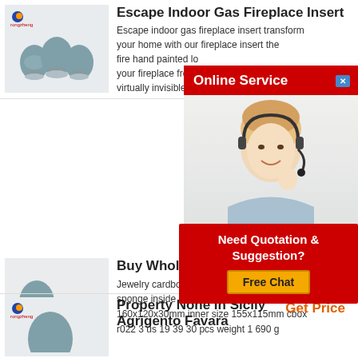[Figure (photo): Three blue-grey egg-shaped objects on stands, with a Rongzheng logo badge in corner]
Escape Indoor Gas Fireplace Insert
Escape indoor gas fireplace insert transform your home with our fireplace insert the fire hand painted lo your fireplace from unused to unbelievable provides a virtually invisible glass that reduces glare by 89 over ce
[Figure (photo): Online Service popup with female agent wearing headset, red banner reading Online Service with blue X close button]
[Figure (photo): Two blue-grey egg/powder product images]
Buy Wholesale Craft And Jew
Jewelry cardboard sponge inside recta 160x120x30mm inner size 155x115mm cbox r022 3 us 19 39 30 pcs weight 1 690 g
[Figure (infographic): Need Quotation & Suggestion? Free Chat button popup in red and yellow]
Get Price
[Figure (photo): Partial product image with Rongzheng logo badge, third listing]
Property None In Sicily Agrigento Favara